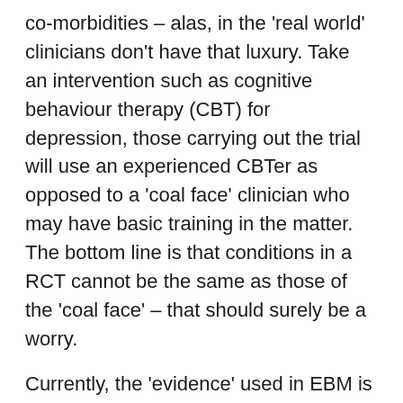co-morbidities – alas, in the 'real world' clinicians don't have that luxury. Take an intervention such as cognitive behaviour therapy (CBT) for depression, those carrying out the trial will use an experienced CBTer as opposed to a 'coal face' clinician who may have basic training in the matter. The bottom line is that conditions in a RCT cannot be the same as those of the 'coal face' – that should surely be a worry.
Currently, the 'evidence' used in EBM is overwhelmingly devoted to the hard evidence obtained from trials such as a RCT. I'm not suggesting that RCTs are not useful, far from it. However, I'm increasingly of the opinion that harnessing the experience of clinicians is vital to supplement the evidence found in clinical trials. Experience can be a form of evidence.